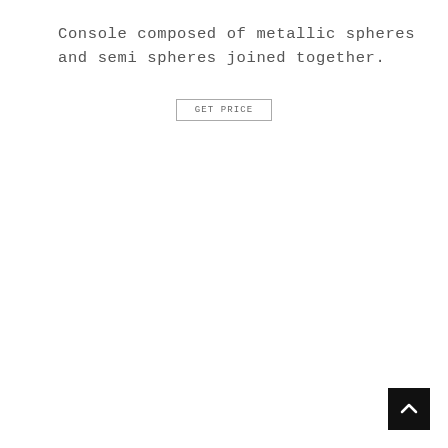Console composed of metallic spheres and semi spheres joined together.
[Figure (other): GET PRICE button with a rectangular border]
[Figure (other): Back to top navigation button — black square with white upward-pointing chevron arrow]